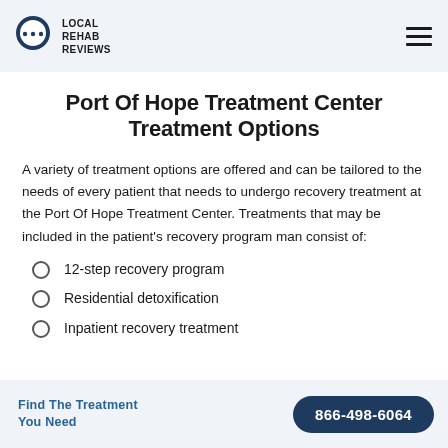Local Rehab Reviews
Port Of Hope Treatment Center Treatment Options
A variety of treatment options are offered and can be tailored to the needs of every patient that needs to undergo recovery treatment at the Port Of Hope Treatment Center. Treatments that may be included in the patient's recovery program man consist of:
12-step recovery program
Residential detoxification
Inpatient recovery treatment
Find The Treatment You Need  866-498-6064